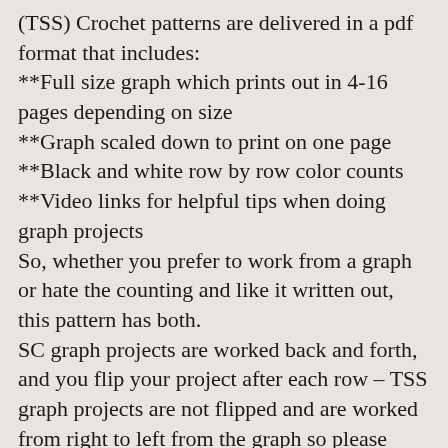(TSS) Crochet patterns are delivered in a pdf format that includes:
**Full size graph which prints out in 4-16 pages depending on size
**Graph scaled down to print on one page
**Black and white row by row color counts
**Video links for helpful tips when doing graph projects
So, whether you prefer to work from a graph or hate the counting and like it written out, this pattern has both.
SC graph projects are worked back and forth, and you flip your project after each row – TSS graph projects are not flipped and are worked from right to left from the graph so please make sure you use the corresponding word chart for the stitch you choose. They will be clearly labeled for you. If you choose to